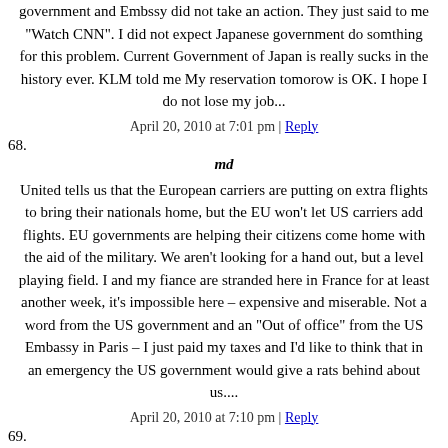government and Embssy did not take an action. They just said to me "Watch CNN". I did not expect Japanese government do somthing for this problem. Current Government of Japan is really sucks in the history ever. KLM told me My reservation tomorow is OK. I hope I do not lose my job...
April 20, 2010 at 7:01 pm | Reply
68.
md
United tells us that the European carriers are putting on extra flights to bring their nationals home, but the EU won't let US carriers add flights. EU governments are helping their citizens come home with the aid of the military. We aren't looking for a hand out, but a level playing field. I and my fiance are stranded here in France for at least another week, it's impossible here – expensive and miserable. Not a word from the US government and an "Out of office" from the US Embassy in Paris – I just paid my taxes and I'd like to think that in an emergency the US government would give a rats behind about us....
April 20, 2010 at 7:10 pm | Reply
69.
J Crespo
You can't find insulin in europe? Where do you thing you